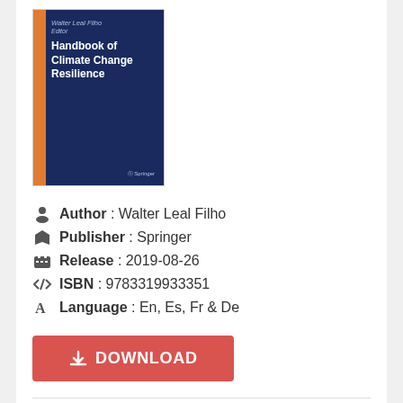[Figure (photo): Book cover of 'Handbook of Climate Change Resilience' edited by Walter Leal Filho, published by Springer. Dark navy blue cover with orange vertical stripe on the left side.]
Author : Walter Leal Filho
Publisher : Springer
Release : 2019-08-26
ISBN : 9783319933351
Language : En, Es, Fr & De
DOWNLOAD
Book Description :
Climate resilience, or the capacity of socio-ecological